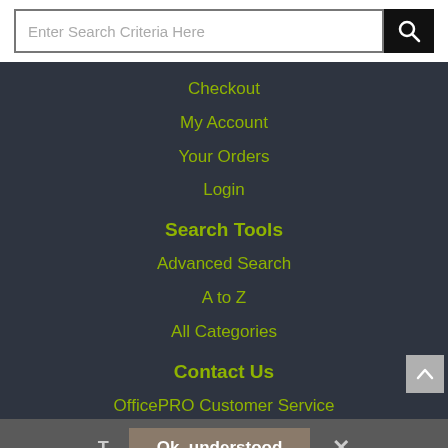[Figure (screenshot): Search bar with text input field saying 'Enter Search Criteria Here' and a black search button with magnifying glass icon]
Checkout
My Account
Your Orders
Login
Search Tools
Advanced Search
A to Z
All Categories
Contact Us
OfficePRO Customer Service
515 Childs Street
Corinth
Ok, understood